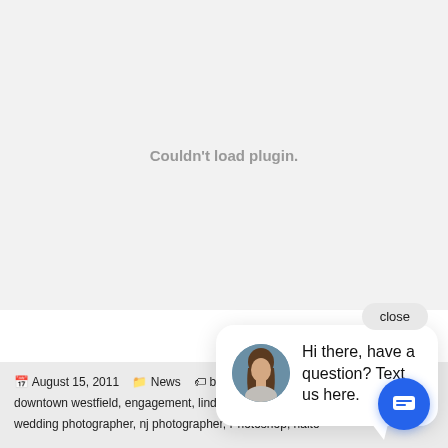[Figure (screenshot): Plugin area showing 'Couldn't load plugin.' message on light gray background]
close
[Figure (screenshot): Chat widget bubble with avatar photo of woman and text: 'Hi there, have a question? Text us here.']
View Gallery
August 15, 2011  News  bride and groom, dave downtown westfield, engagement, lindsey clark, new jersey wedding photographer, nj photographer, Photoshop, rialto